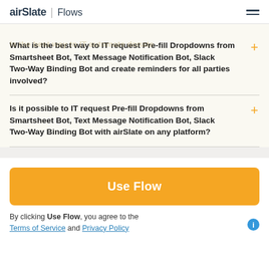airSlate | Flows
What is the best way to IT request Pre-fill Dropdowns from Smartsheet Bot, Text Message Notification Bot, Slack Two-Way Binding Bot and create reminders for all parties involved?
Is it possible to IT request Pre-fill Dropdowns from Smartsheet Bot, Text Message Notification Bot, Slack Two-Way Binding Bot with airSlate on any platform?
Use Flow
By clicking Use Flow, you agree to the Terms of Service and Privacy Policy